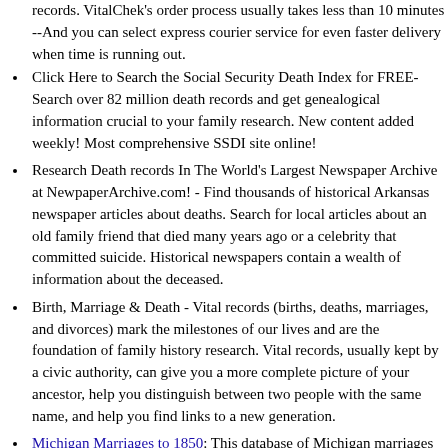records. VitalChek's order process usually takes less than 10 minutes --And you can select express courier service for even faster delivery when time is running out.
Click Here to Search the Social Security Death Index for FREE- Search over 82 million death records and get genealogical information crucial to your family research. New content added weekly! Most comprehensive SSDI site online!
Research Death records In The World's Largest Newspaper Archive at NewpaperArchive.com! - Find thousands of historical Arkansas newspaper articles about deaths. Search for local articles about an old family friend that died many years ago or a celebrity that committed suicide. Historical newspapers contain a wealth of information about the deceased.
Birth, Marriage & Death - Vital records (births, deaths, marriages, and divorces) mark the milestones of our lives and are the foundation of family history research. Vital records, usually kept by a civic authority, can give you a more complete picture of your ancestor, help you distinguish between two people with the same name, and help you find links to a new generation.
Michigan Marriages to 1850: This database of Michigan marriages to 1850 contains 13,000 names.
Michigan Marriages, 1851-75: This database contains records of marriages within the state for the years 1851